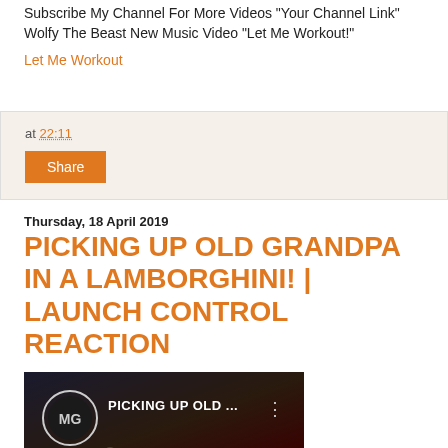Subscribe My Channel For More Videos "Your Channel Link" Wolfy The Beast New Music Video "Let Me Workout!"
Let Me Workout
at 22:11
Share
Thursday, 18 April 2019
PICKING UP OLD GRANDPA IN A LAMBORGHINI! | LAUNCH CONTROL REACTION
[Figure (screenshot): Video thumbnail showing 'PICKING UP OLD ...' text with a circular logo (MG) on the left, and people on a street in the background with a colorful car visible at the bottom.]